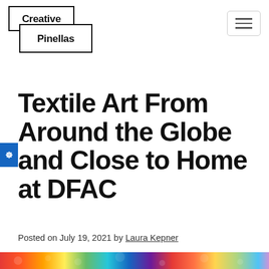Creative Pinellas
Textile Art From Around the Globe and Close to Home at DFAC
Posted on July 19, 2021 by Laura Kepner
[Figure (photo): Colorful textile art image at the bottom of the page]